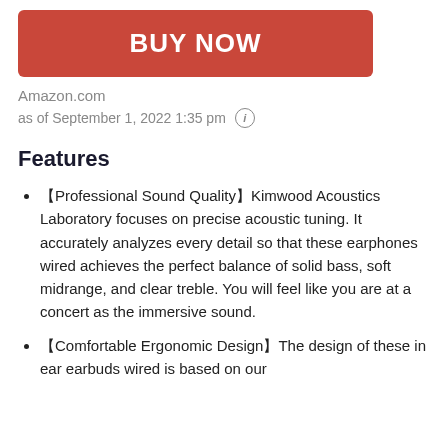[Figure (other): Red BUY NOW button]
Amazon.com
as of September 1, 2022 1:35 pm ⓘ
Features
【Professional Sound Quality】Kimwood Acoustics Laboratory focuses on precise acoustic tuning. It accurately analyzes every detail so that these earphones wired achieves the perfect balance of solid bass, soft midrange, and clear treble. You will feel like you are at a concert as the immersive sound.
【Comfortable Ergonomic Design】The design of these in ear earbuds wired is based on our